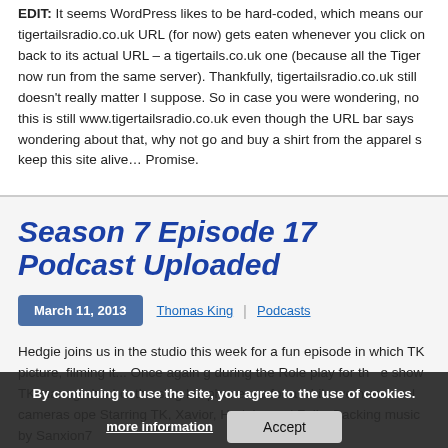EDIT: It seems WordPress likes to be hard-coded, which means our tigertailsradio.co.uk URL (for now) gets eaten whenever you click on back to its actual URL – a tigertails.co.uk one (because all the Tiger now run from the same server). Thankfully, tigertailsradio.co.uk still doesn't really matter I suppose. So in case you were wondering, no this is still www.tigertailsradio.co.uk even though the URL bar says wondering about that, why not go and buy a shirt from the apparel s keep this site alive… Promise.
Season 7 Episode 17 Podcast Uploaded
March 11, 2013 | Thomas King | Podcasts
Hedgie joins us in the studio this week for a fun episode in which TK picture, filming it... Once again g during the Role play for th e show TK manage his booth using his phone, so for a while we have duel cameras ope Starring TK, Xavior, Hodgio, and Felis. Backing music by Sanxion7
By continuing to use the site, you agree to the use of cookies. more information | Accept